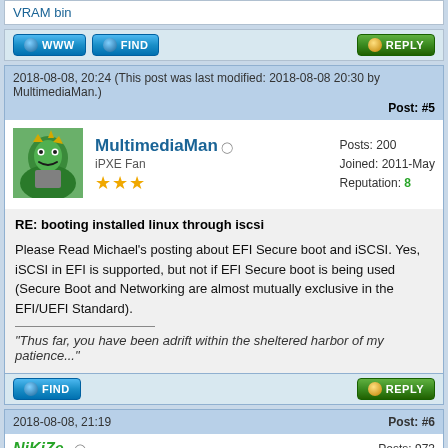VRAM bin
WWW | FIND | REPLY
2018-08-08, 20:24 (This post was last modified: 2018-08-08 20:30 by MultimediaMan.) Post: #5
MultimediaMan
iPXE Fan
Posts: 200
Joined: 2011-May
Reputation: 8
RE: booting installed linux through iscsi
Please Read Michael's posting about EFI Secure boot and iSCSI. Yes, iSCSI in EFI is supported, but not if EFI Secure boot is being used (Secure Boot and Networking are almost mutually exclusive in the EFI/UEFI Standard).
"Thus far, you have been adrift within the sheltered harbor of my patience..."
FIND | REPLY
2018-08-08, 21:19  Post: #6
NiKiZe
Posts: 973